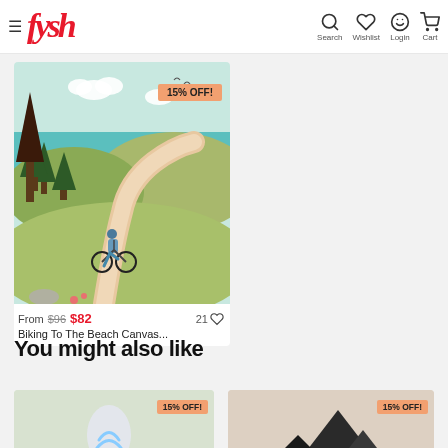≡ Fysh | Search | Wishlist | Login | Cart
[Figure (illustration): Illustration of a person biking on a winding path through green hills toward a teal-blue sea, with pine trees on left, 15% OFF badge overlay]
From $96 $82
Biking To The Beach Canvas...
You might also like
[Figure (illustration): Product thumbnail with ice cream illustration on green background, 15% OFF badge]
[Figure (illustration): Product thumbnail with mountain/shark fin shapes on beige background, 15% OFF badge]